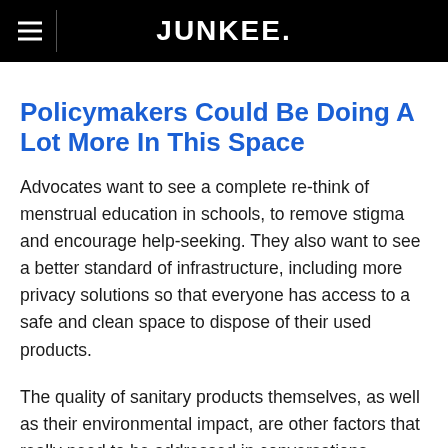JUNKEE.
Policymakers Could Be Doing A Lot More In This Space
Advocates want to see a complete re-think of menstrual education in schools, to remove stigma and encourage help-seeking. They also want to see a better standard of infrastructure, including more privacy solutions so that everyone has access to a safe and clean space to dispose of their used products.
The quality of sanitary products themselves, as well as their environmental impact, are other factors that really need to be addressed in conversations